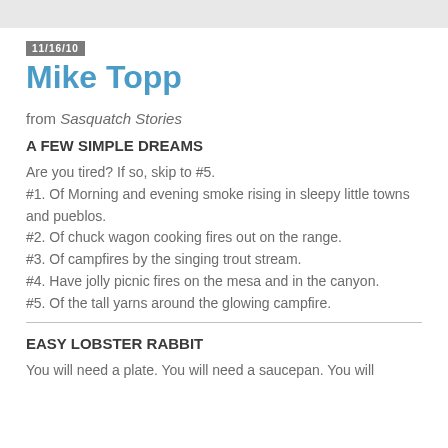11/16/10
Mike Topp
from Sasquatch Stories
A FEW SIMPLE DREAMS
Are you tired? If so, skip to #5.
#1. Of Morning and evening smoke rising in sleepy little towns and pueblos.
#2. Of chuck wagon cooking fires out on the range.
#3. Of campfires by the singing trout stream.
#4. Have jolly picnic fires on the mesa and in the canyon.
#5. Of the tall yarns around the glowing campfire.
EASY LOBSTER RABBIT
You will need a plate. You will need a saucepan. You will